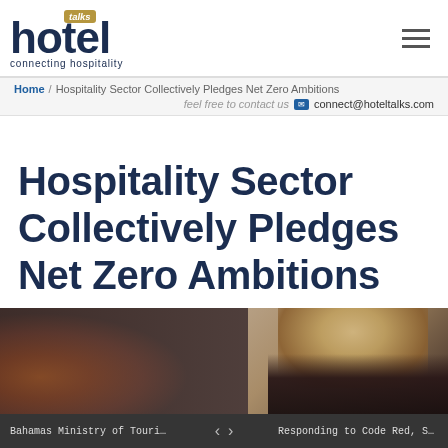[Figure (logo): Hotel Talks logo with 'talks' badge in gold, 'hotel' in dark navy large bold text, tagline 'connecting hospitality' below]
Home / Hospitality Sector Collectively Pledges Net Zero Ambitions
feel free to contact us  connect@hoteltalks.com
Hospitality Sector Collectively Pledges Net Zero Ambitions
[Figure (photo): Woman with blonde hair in profile view, dark background with warm fire glow on left side]
Bahamas Ministry of Tourism Appo...  <  >  Responding to Code Red, SUNx Issu...